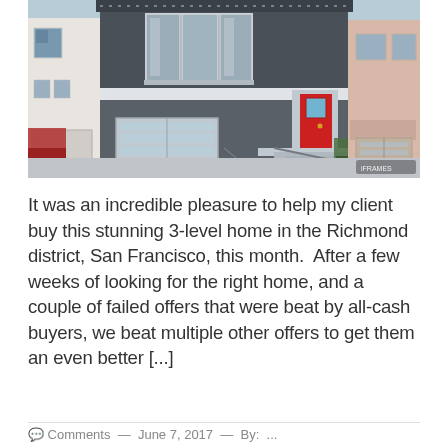[Figure (photo): Exterior photo of a 3-level San Francisco Richmond district home with gray facade, white trim, red front door, wide garage door with horizontal glass panels, concrete steps, and neighboring houses on either side.]
It was an incredible pleasure to help my client buy this stunning 3-level home in the Richmond district, San Francisco, this month.  After a few weeks of looking for the right home, and a couple of failed offers that were beat by all-cash buyers, we beat multiple other offers to get them an even better [...]
Comments — June 7, 2017 — By: ...